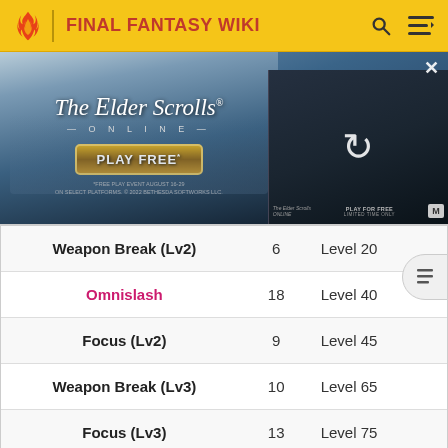FINAL FANTASY WIKI
[Figure (screenshot): Advertisement banner for The Elder Scrolls Online with 'PLAY FREE' button and a loading video thumbnail on the right]
| Ability | AP | Acquired |
| --- | --- | --- |
| Weapon Break (Lv2) | 6 | Level 20 |
| Omnislash | 18 | Level 40 |
| Focus (Lv2) | 9 | Level 45 |
| Weapon Break (Lv3) | 10 | Level 65 |
| Focus (Lv3) | 13 | Level 75 |